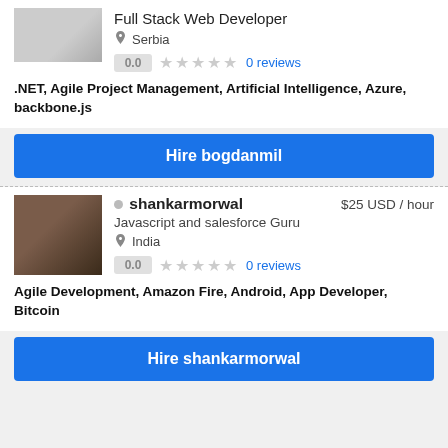[Figure (photo): Profile photo of bogdanmil (partial, top portion visible)]
Full Stack Web Developer
Serbia
0.0  ★★★★★  0 reviews
.NET, Agile Project Management, Artificial Intelligence, Azure, backbone.js
Hire bogdanmil
[Figure (photo): Profile photo of shankarmorwal, man in dark suit]
shankarmorwal  $25 USD / hour
Javascript and salesforce Guru
India
0.0  ★★★★★  0 reviews
Agile Development, Amazon Fire, Android, App Developer, Bitcoin
Hire shankarmorwal